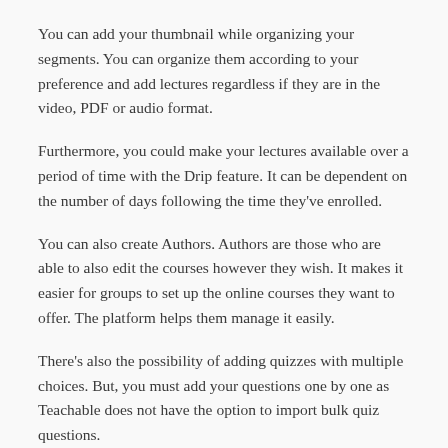You can add your thumbnail while organizing your segments. You can organize them according to your preference and add lectures regardless if they are in the video, PDF or audio format.
Furthermore, you could make your lectures available over a period of time with the Drip feature. It can be dependent on the number of days following the time they've enrolled.
You can also create Authors. Authors are those who are able to also edit the courses however they wish. It makes it easier for groups to set up the online courses they want to offer. The platform helps them manage it easily.
There's also the possibility of adding quizzes with multiple choices. But, you must add your questions one by one as Teachable does not have the option to import bulk quiz questions.